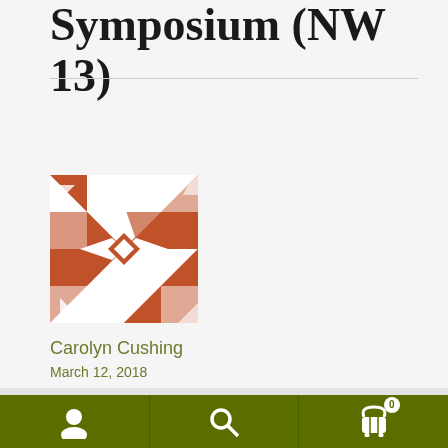Symposium (NW 13)
[Figure (illustration): Decorative geometric quilt-pattern square in rust/brick red and white, featuring star and arrow motifs in a symmetric pattern]
Carolyn Cushing
March 12, 2018
We are in the process of testing the store — no orders shall be fulfilled. Dismiss
[Figure (infographic): Bottom navigation bar with three icons: person/account icon, search/magnifying glass icon, and shopping cart icon with badge showing 0]